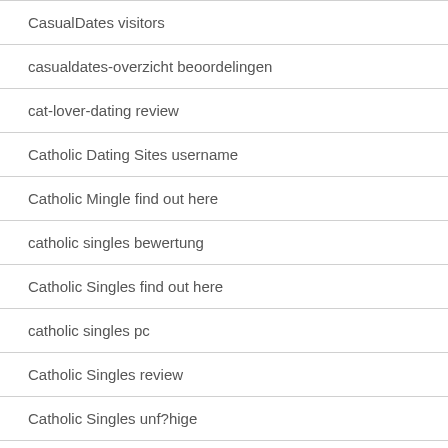CasualDates visitors
casualdates-overzicht beoordelingen
cat-lover-dating review
Catholic Dating Sites username
Catholic Mingle find out here
catholic singles bewertung
Catholic Singles find out here
catholic singles pc
Catholic Singles review
Catholic Singles unf?hige
Catholic Singles visitors